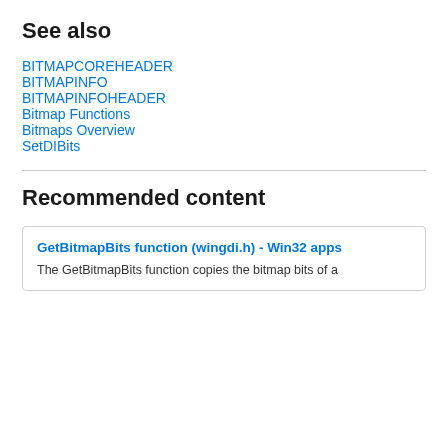See also
BITMAPCOREHEADER
BITMAPINFO
BITMAPINFOHEADER
Bitmap Functions
Bitmaps Overview
SetDIBits
Recommended content
GetBitmapBits function (wingdi.h) - Win32 apps
The GetBitmapBits function copies the bitmap bits of a